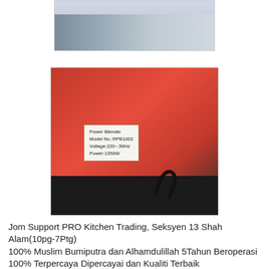[Figure (photo): Top portion of a product listing image showing two women at a dining table with kitchen appliance in background]
[Figure (photo): Photo of a red power blender base showing a product label. Label reads: Power Blender, Model No.:RPB1002, Voltage:220~,50Hz, Power:1350W. The blender has a black base and a black power cord.]
Jom Support PRO Kitchen Trading, Seksyen 13 Shah Alam(10pg-7Ptg)
100% Muslim Bumiputra dan Alhamdulillah 5Tahun Beroperasi
100% Terpercaya Dipercayai dan Kualiti Terbaik